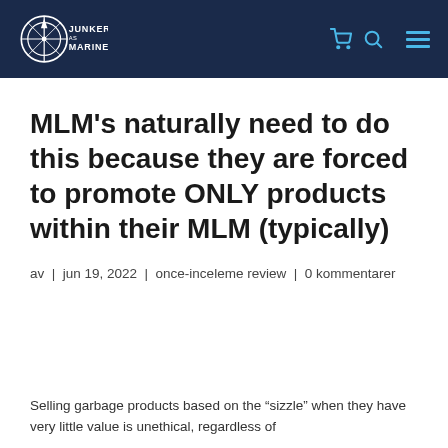[Figure (logo): Junker Marine AS logo — compass/ship wheel icon in white with text JUNKER AS MARINE on dark navy background header bar]
MLM’s naturally need to do this because they are forced to promote ONLY products within their MLM (typically)
av | jun 19, 2022 | once-inceleme review | 0 kommentarer
Selling garbage products based on the “sizzle” when they have very little value is unethical, regardless of